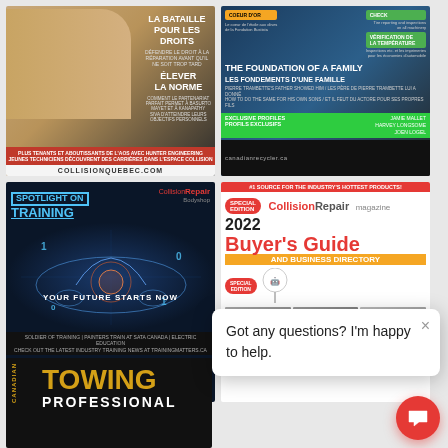[Figure (illustration): Magazine cover - Collision Quebec: Man in beige blazer, title 'La Bataille Pour Les Droits', 'Élever La Norme', red footer bar, COLLISIONQUEBEC.COM url]
[Figure (illustration): Magazine cover - Canadian Recycler: 'The Foundation of a Family / Les Fondements D'une Famille', man in suit, exclusive profiles section, canadianrecycler.ca]
[Figure (illustration): Magazine cover - Spotlight on Training 2022: dark background with glowing car, 'Your Future Starts Now', Collision Repair Bodyshop logo]
[Figure (illustration): Magazine cover - Collision Repair 2022 Buyer's Guide and Business Directory, #1 source for industry's hottest products]
[Figure (screenshot): Chat popup overlay: 'Got any questions? I'm happy to help.' with close X button and red chat bubble button]
[Figure (illustration): Magazine cover partial - Canadian Towing Professional: yellow TOWING title on black background, bottom of page]